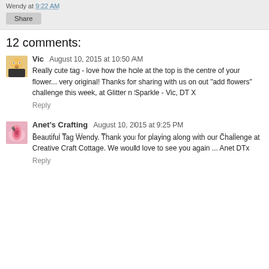Wendy at 9:22 AM
Share
12 comments:
Vic  August 10, 2015 at 10:50 AM
Really cute tag - love how the hole at the top is the centre of your flower... very original! Thanks for sharing with us on out "add flowers" challenge this week, at Glitter n Sparkle - Vic, DT X
Reply
Anet's Crafting  August 10, 2015 at 9:25 PM
Beautiful Tag Wendy. Thank you for playing along with our Challenge at Creative Craft Cottage. We would love to see you again ... Anet DTx
Reply